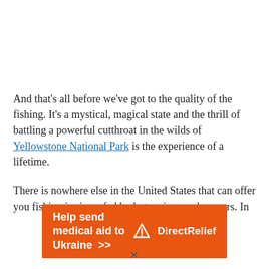And that's all before we've got to the quality of the fishing. It's a mystical, magical state and the thrill of battling a powerful cutthroat in the wilds of Yellowstone National Park is the experience of a lifetime.
There is nowhere else in the United States that can offer you fishing in rivers fed by hot springs and geysers. In
[Figure (other): Orange advertisement banner reading 'Help send medical aid to Ukraine >>' with Direct Relief logo on the right]